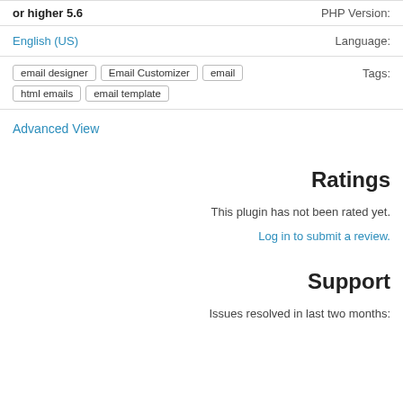or higher 5.6    :PHP Version
English (US)    :Language
Tags: email designer, Email Customizer, email, html emails, email template
Advanced View
Ratings
This plugin has not been rated yet.
Log in to submit a review.
Support
Issues resolved in last two months: